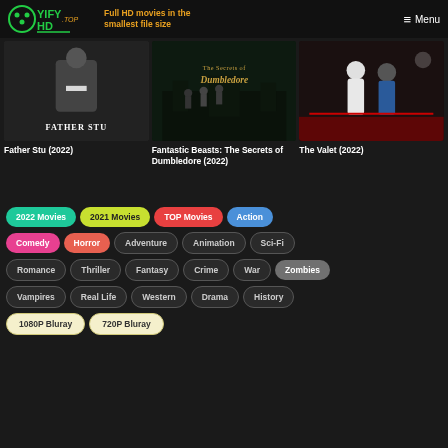YIFYHD.TOP - Full HD movies in the smallest file size - Menu
[Figure (screenshot): Movie thumbnail for Father Stu (2022)]
Father Stu (2022)
[Figure (screenshot): Movie thumbnail for Fantastic Beasts: The Secrets of Dumbledore (2022)]
Fantastic Beasts: The Secrets of Dumbledore (2022)
[Figure (screenshot): Movie thumbnail for The Valet (2022)]
The Valet (2022)
2022 Movies
2021 Movies
TOP Movies
Action
Comedy
Horror
Adventure
Animation
Sci-Fi
Romance
Thriller
Fantasy
Crime
War
Zombies
Vampires
Real Life
Western
Drama
History
1080P Bluray
720P Bluray